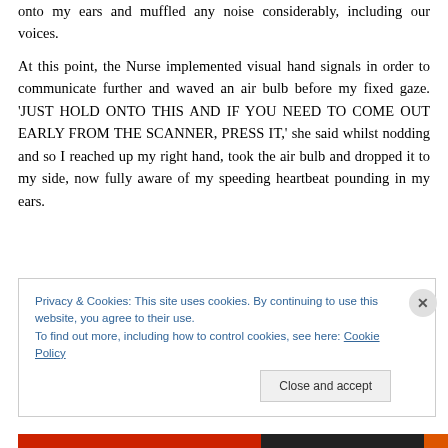onto my ears and muffled any noise considerably, including our voices.
At this point, the Nurse implemented visual hand signals in order to communicate further and waved an air bulb before my fixed gaze. 'JUST HOLD ONTO THIS AND IF YOU NEED TO COME OUT EARLY FROM THE SCANNER, PRESS IT,' she said whilst nodding and so I reached up my right hand, took the air bulb and dropped it to my side, now fully aware of my speeding heartbeat pounding in my ears.
Privacy & Cookies: This site uses cookies. By continuing to use this website, you agree to their use. To find out more, including how to control cookies, see here: Cookie Policy
Close and accept